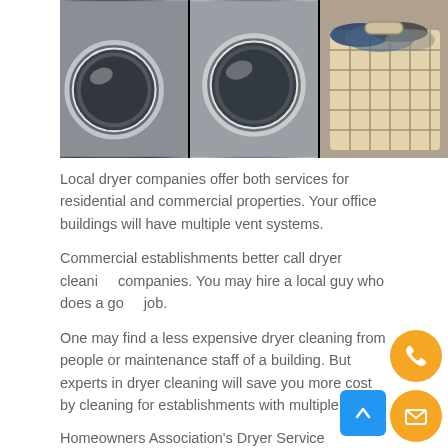[Figure (photo): Photo of commercial washing machines/dryers in a laundromat with a wire laundry basket filled with clothes on the right side.]
Local dryer companies offer both services for residential and commercial properties. Your office buildings will have multiple vent systems.
Commercial establishments better call dryer cleaning companies. You may hire a local guy who does a good job.
One may find a less expensive dryer cleaning from people or maintenance staff of a building. But experts in dryer cleaning will save you more cost by cleaning for establishments with multiple units.
Homeowners Association's Dryer Service